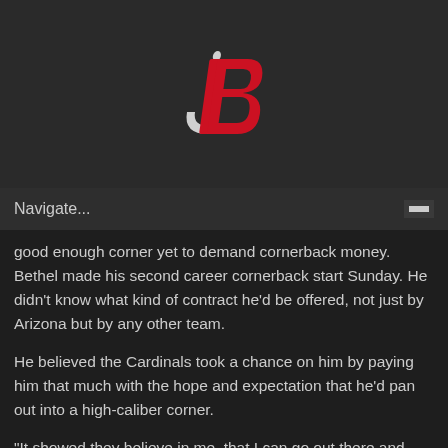[Figure (logo): JB sports logo with stylized white J and red B letters in italic overlapping design on dark background]
Navigate...
good enough corner yet to demand cornerback money. Bethel made his second career cornerback start Sunday. He didn't know what kind of contract he'd be offered, not just by Arizona but by any other team.
He believed the Cardinals took a chance on him by paying him that much with the hope and expectation that he'd pan out into a high-caliber corner.
“It showed they believe in me, that I can go out there and play the corner position,” Bethel said.
While he’s still basking in the glow of his new deal,